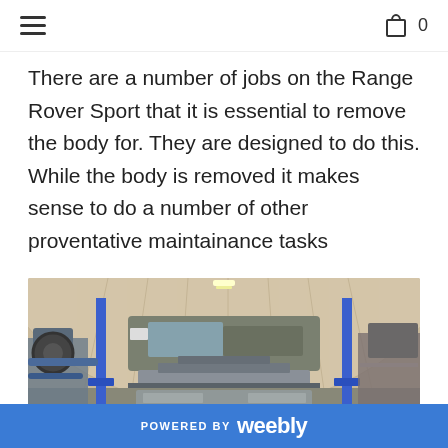≡  🛍 0
There are a number of jobs on the Range Rover Sport that it is essential to remove the body for. They are designed to do this. While the body is removed it makes sense to do a number of other proventative maintainance tasks
[Figure (photo): A Range Rover Sport with its front body removed, sitting on a car lift inside a quonset hut style garage. The vehicle chassis is visible from the front with the body panels off. Blue lift columns are visible on either side. Various automotive parts and equipment are visible around the garage.]
POWERED BY weebly